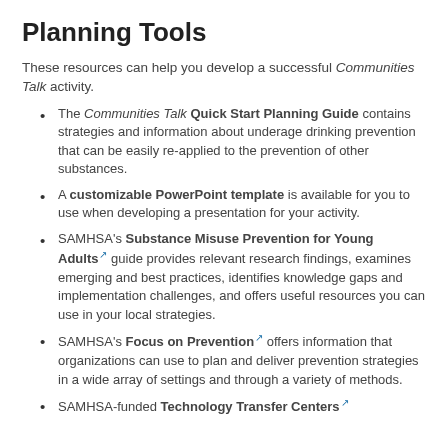Planning Tools
These resources can help you develop a successful Communities Talk activity.
The Communities Talk Quick Start Planning Guide contains strategies and information about underage drinking prevention that can be easily re-applied to the prevention of other substances.
A customizable PowerPoint template is available for you to use when developing a presentation for your activity.
SAMHSA's Substance Misuse Prevention for Young Adults guide provides relevant research findings, examines emerging and best practices, identifies knowledge gaps and implementation challenges, and offers useful resources you can use in your local strategies.
SAMHSA's Focus on Prevention offers information that organizations can use to plan and deliver prevention strategies in a wide array of settings and through a variety of methods.
SAMHSA-funded Technology Transfer Centers